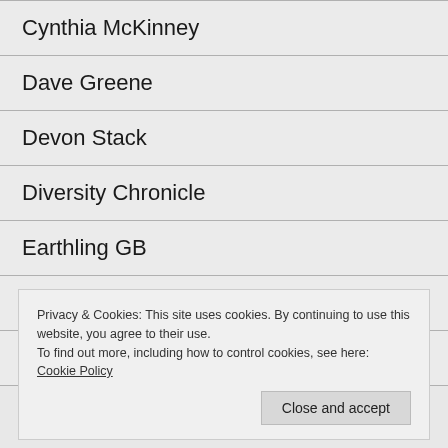Cynthia McKinney
Dave Greene
Devon Stack
Diversity Chronicle
Earthling GB
Ecosophia
Edward Curtain
Privacy & Cookies: This site uses cookies. By continuing to use this website, you agree to their use.
To find out more, including how to control cookies, see here: Cookie Policy
Close and accept